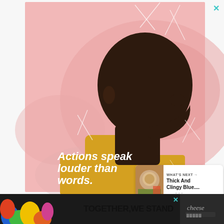[Figure (illustration): Illustrated advertisement showing a Black man in profile view from behind, wearing a yellow turtleneck sweater, set against a pink swirling background with white line art. Text overlay reads 'Actions speak louder than words.' with a small close X button in the top right corner.]
[Figure (infographic): Social interaction sidebar with heart (like) button, share count showing '6', and share button in teal circles.]
[Figure (screenshot): What's Next recommendation card showing a food thumbnail and text 'WHAT'S NEXT → Thick And Clingy Blue...']
[Figure (illustration): Bottom banner advertisement with dark background and colorful blob shapes on the left, text 'TOGETHER, WE STAND' in bold black, close X button, and a wordmark logo on the right.]